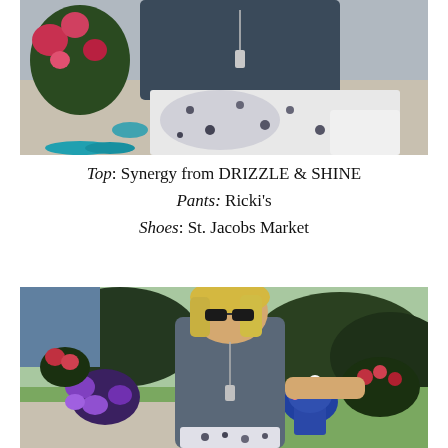[Figure (photo): Close-up photo of a person sitting on a sidewalk, wearing a dark blue top with a key necklace, and white-and-grey paisley patterned pants. Pink roses and turquoise/blue bracelet visible. Bright sunlight.]
Top: Synergy from DRIZZLE & SHINE
Pants: Ricki's
Shoes: St. Jacobs Market
[Figure (photo): Full-length photo of a blonde woman wearing sunglasses and a grey short-sleeve top with patterned pants, sitting outdoors surrounded by colorful flowers including purple petunias, red roses, and a blue pot with white flowers. Sunny day, green bushes in background.]